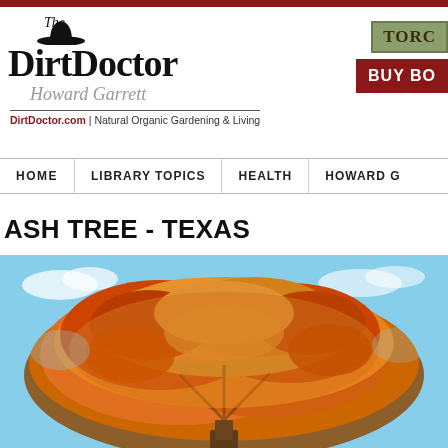[Figure (screenshot): The Dirt Doctor website header with logo, hat icon, Howard Garrett name, tagline, navigation bar, TORC button, BUY BOOK button]
ASH TREE - TEXAS
[Figure (photo): Photograph of a Texas Ash tree with orange and red autumn foliage against a blue sky with clouds]